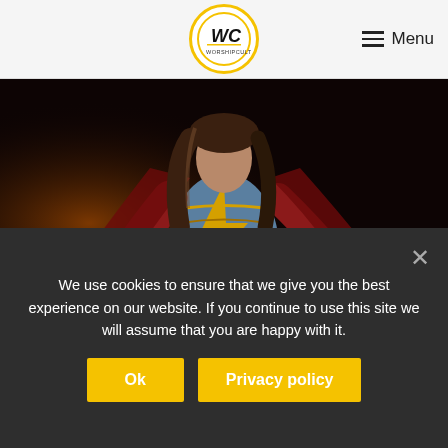WorshipCulture — Menu
[Figure (photo): A woman in a Ms. Marvel superhero costume — blue suit with gold lightning bolt design and red cape/jacket — posed against a dark background.]
The Upcoming Ms. Marvel Show Looks Very Promising
We use cookies to ensure that we give you the best experience on our website. If you continue to use this site we will assume that you are happy with it.
Ok   Privacy policy